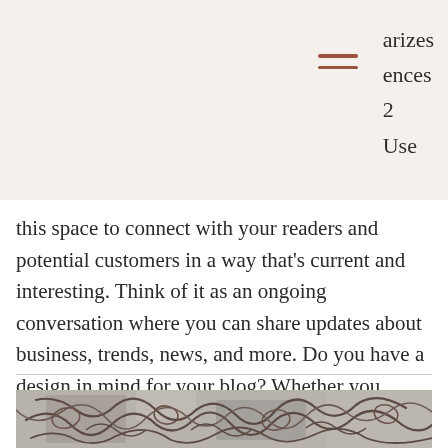arizes
ences
2
Use
this space to connect with your readers and potential customers in a way that's current and interesting. Think of it as an ongoing conversation where you can share updates about business, trends, news, and more. Do you have a design in mind for your blog? Whether you prefer a trendy postcard look or you're going f
[Figure (photo): Stone carving with interlaced line patterns and ancient decorative engravings on a grey stone surface]